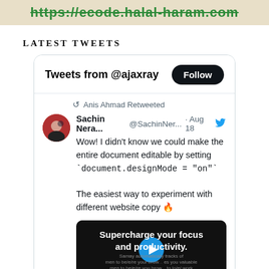[Figure (screenshot): Banner with beige/tan background showing URL https://ecode.halal-haram.com in green bold text]
LATEST TWEETS
[Figure (screenshot): Twitter/X widget showing tweets from @ajaxray with a Follow button, a retweet by Anis Ahmad of Sachin Nera... @SachinNer... Aug 18 tweet about document.designMode = 'on' and a video thumbnail for Supercharge your focus and productivity.]